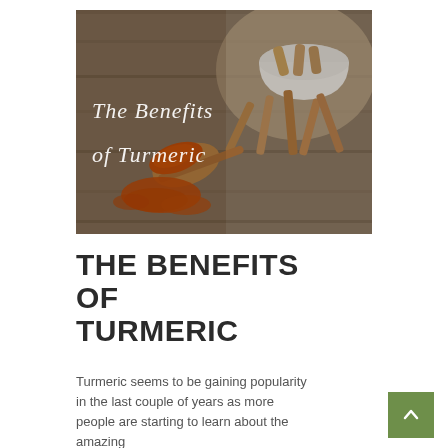[Figure (photo): Photo of turmeric powder on a wooden spoon, turmeric roots, and a bowl of turmeric roots on a wooden surface. White text overlay reads 'The Benefits of Turmeric' in a decorative font.]
THE BENEFITS OF TURMERIC
Turmeric seems to be gaining popularity in the last couple of years as more people are starting to learn about the amazing